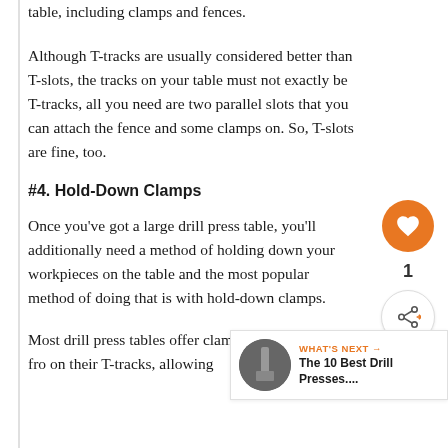table, including clamps and fences.
Although T-tracks are usually considered better than T-slots, the tracks on your table must not exactly be T-tracks, all you need are two parallel slots that you can attach the fence and some clamps on. So, T-slots are fine, too.
#4. Hold-Down Clamps
Once you've got a large drill press table, you'll additionally need a method of holding down your workpieces on the table and the most popular method of doing that is with hold-down clamps.
Most drill press tables offer clamps that glide to and fro on their T-tracks, allowing